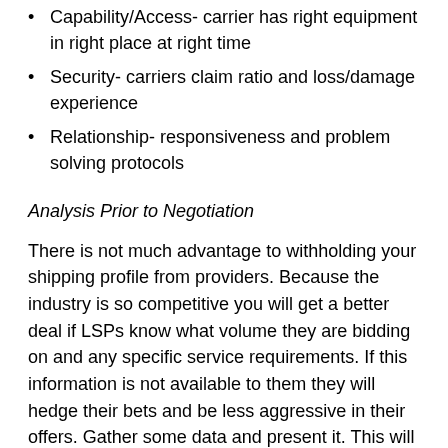Capability/Access- carrier has right equipment in right place at right time
Security- carriers claim ratio and loss/damage experience
Relationship- responsiveness and problem solving protocols
Analysis Prior to Negotiation
There is not much advantage to withholding your shipping profile from providers. Because the industry is so competitive you will get a better deal if LSPs know what volume they are bidding on and any specific service requirements. If this information is not available to them they will hedge their bets and be less aggressive in their offers. Gather some data and present it. This will give you professional status in the eyes of your providers. Here is some minimum information needed. Most of it can be found in bill of lading or invoice files.
Volume/Frequency- # of shipments per day, week, or month